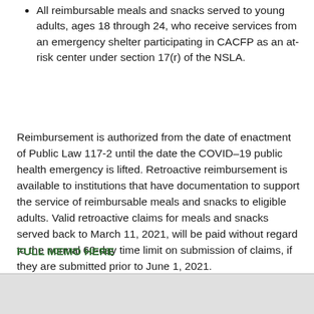All reimbursable meals and snacks served to young adults, ages 18 through 24, who receive services from an emergency shelter participating in CACFP as an at-risk center under section 17(r) of the NSLA.
Reimbursement is authorized from the date of enactment of Public Law 117-2 until the date the COVID-19 public health emergency is lifted. Retroactive reimbursement is available to institutions that have documentation to support the service of reimbursable meals and snacks to eligible adults. Valid retroactive claims for meals and snacks served back to March 11, 2021, will be paid without regard to the normal 60-day time limit on submission of claims, if they are submitted prior to June 1, 2021.
FULL MEMO HERE